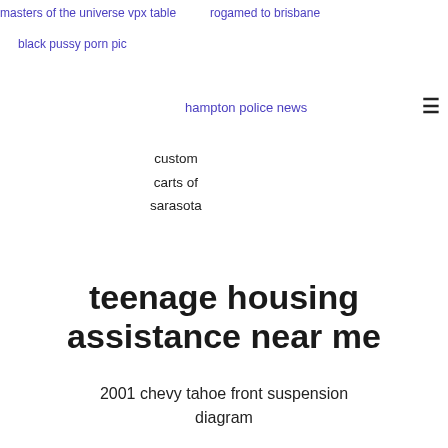masters of the universe vpx table
rogamed to brisbane
black
pussy
porn pic
hampton police news
custom
carts of
sarasota
teenage housing assistance near me
2001 chevy tahoe front suspension diagram
is 16 too young to get married